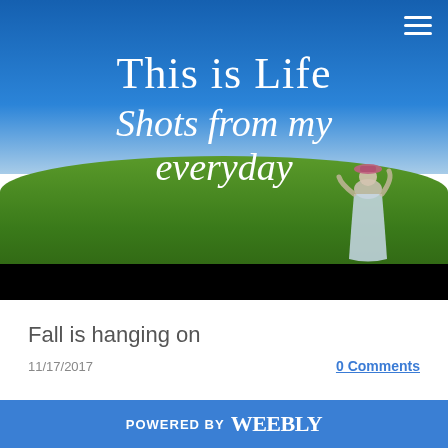[Figure (photo): Hero banner with a person standing on a green hill against a blue sky. Overlay text reads 'This is Life / Shots from my everyday'. Hamburger menu icon in top right.]
Fall is hanging on
11/17/2017
0 Comments
POWERED BY weebly